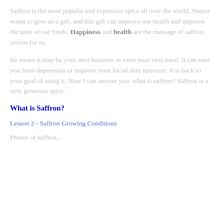Saffron is the most popular and expensive spice all over the world. Nature wants to give us a gift, and this gift can improve our health and improve the taste of our foods. Happiness and health are the message of saffron crocus for us.
Be aware it may be your next business or even your next meal. It can save you from depression or improve your facial skin structure. It is back to your goal of using it. Now I can answer you: what is saffron? Saffron is a very generous spice.
What is Saffron?
Lesson 2 - Saffron Growing Conditions
Photos of saffron...